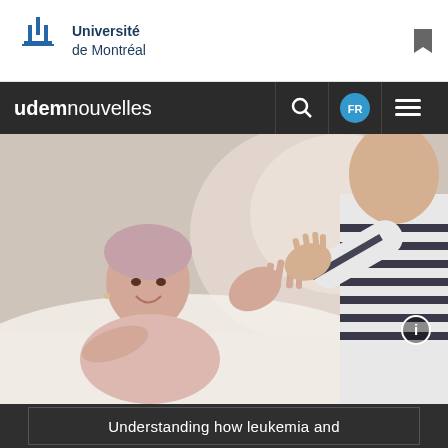[Figure (logo): Université de Montréal logo with stylized building icon and text 'Université de Montréal']
udemnouvelles
[Figure (photo): A smiling woman lying in a hospital bed reaching hands up toward a child standing nearby in a striped shirt]
Understanding how leukemia and